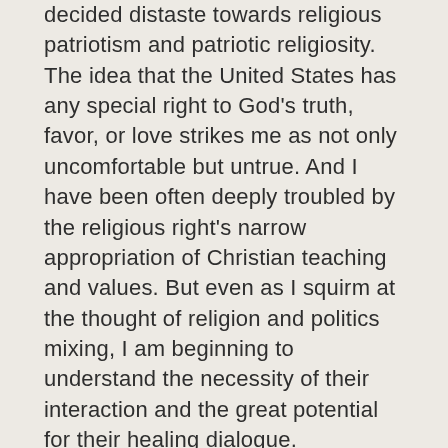decided distaste towards religious patriotism and patriotic religiosity. The idea that the United States has any special right to God's truth, favor, or love strikes me as not only uncomfortable but untrue. And I have been often deeply troubled by the religious right's narrow appropriation of Christian teaching and values. But even as I squirm at the thought of religion and politics mixing, I am beginning to understand the necessity of their interaction and the great potential for their healing dialogue.
Last week I reflected on the need for and pursuit of community in light of a global industrial capitalist economy. For Wendell Berry, a body politic or a “public” is very different from a community. In his formulation, the least common denominator of the public is